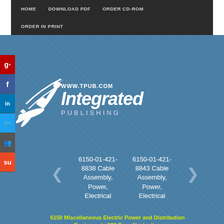HOME   DOWNLOAD PDF   ORDER CD-ROM   ORDER IN PRINT
[Figure (logo): Integrated Publishing logo with bird/leaf design and text 'WWW.TPUB.COM Integrated PUBLISHING']
6150-01-421-8838 Cable Assembly, Power, Electrical
6150-01-421-8843 Cable Assembly, Power, Electrical
6150 Miscellaneous Electric Power and Distribution Equipment - 320 Page Navigation
1 2 3 4 5 6 7